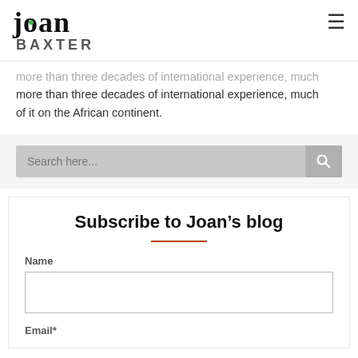joan BAXTER
more than three decades of international experience, much of it on the African continent.
[Figure (screenshot): Search bar with placeholder text 'Search here...' and a search icon button on the right]
Subscribe to Joan’s blog
Name
Email*